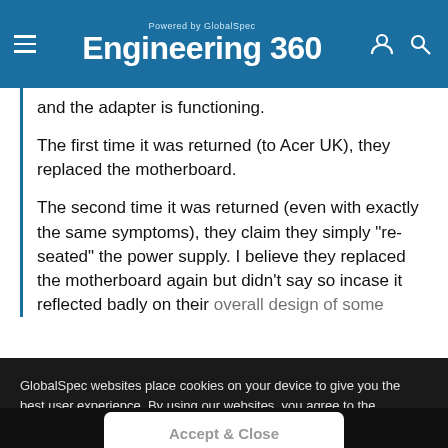Engineering 360 — Powered by GlobalSpec
and the adapter is functioning.
The first time it was returned (to Acer UK), they replaced the motherboard.
The second time it was returned (even with exactly the same symptoms), they claim they simply "re-seated" the power supply. I believe they replaced the motherboard again but didn't say so incase it reflected badly on their overall design of some
GlobalSpec websites place cookies on your device to give you the best user experience. By using our websites, you agree to the placement of these cookies. To learn more, read our Privacy Policy
Accept & Close